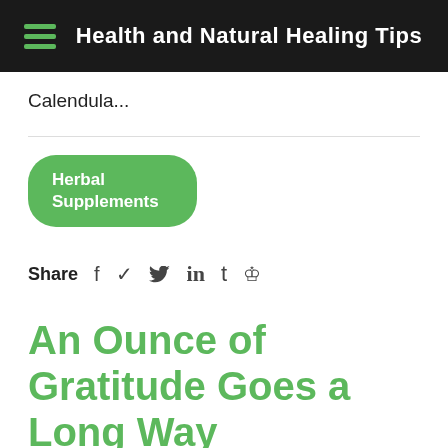Health and Natural Healing Tips
Calendula...
Herbal Supplements
Share  f  ♥  in  t  ℗
An Ounce of Gratitude Goes a Long Way
♥ 21  💬 0
Epilepsy, Stacey Chillemi